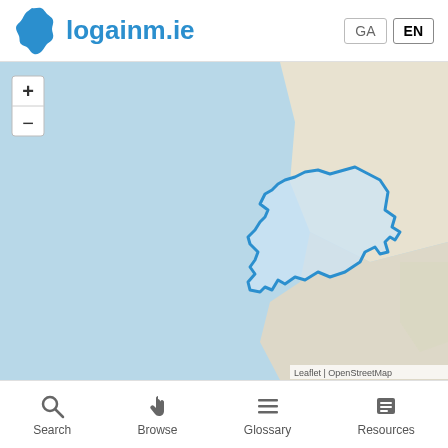logainm.ie — GA | EN
[Figure (map): Interactive Leaflet/OpenStreetMap showing a blue-outlined region (townland/parish boundary) in Ireland, displayed on a teal/beige map background. The region outline is filled with light blue and has an irregular polygon shape. Zoom in (+) and zoom out (-) controls are visible top-left. Attribution reads 'Leaflet | OpenStreetMap'.]
Search  Browse  Glossary  Resources